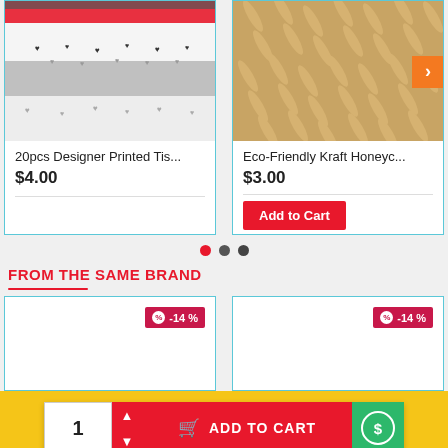[Figure (photo): Product card: 20pcs Designer Printed tissue paper, showing stacked white/gray fabric with heart prints. Price $4.00]
[Figure (photo): Product card: Eco-Friendly Kraft Honeycomb paper, showing tan/kraft textured material with diagonal pattern. Price $3.00, with Add to Cart button and orange arrow navigation.]
20pcs Designer Printed Tis...
$4.00
Eco-Friendly Kraft Honeyc...
$3.00
Add to Cart
FROM THE SAME BRAND
[Figure (photo): Product card with -14% discount badge, empty product image area]
[Figure (photo): Product card with -14% discount badge, empty product image area]
1  ADD TO CART
[Figure (photo): Bottom product card showing blue night scene with trees]
[Figure (photo): Bottom product card showing green pattern with animal silhouette]